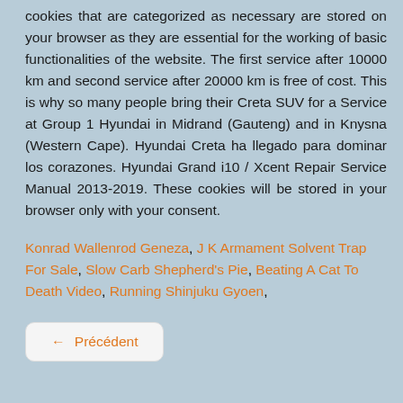cookies that are categorized as necessary are stored on your browser as they are essential for the working of basic functionalities of the website. The first service after 10000 km and second service after 20000 km is free of cost. This is why so many people bring their Creta SUV for a Service at Group 1 Hyundai in Midrand (Gauteng) and in Knysna (Western Cape). Hyundai Creta ha llegado para dominar los corazones. Hyundai Grand i10 / Xcent Repair Service Manual 2013-2019. These cookies will be stored in your browser only with your consent.
Konrad Wallenrod Geneza, J K Armament Solvent Trap For Sale, Slow Carb Shepherd's Pie, Beating A Cat To Death Video, Running Shinjuku Gyoen,
← Précédent